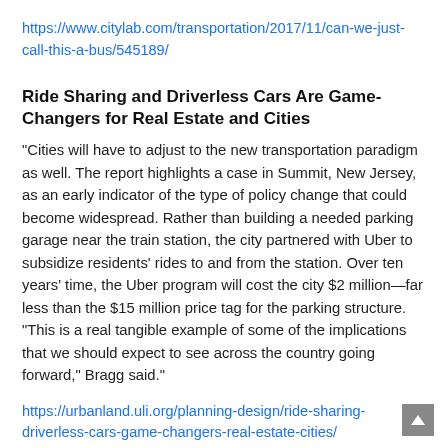https://www.citylab.com/transportation/2017/11/can-we-just-call-this-a-bus/545189/
Ride Sharing and Driverless Cars Are Game-Changers for Real Estate and Cities
“Cities will have to adjust to the new transportation paradigm as well. The report highlights a case in Summit, New Jersey, as an early indicator of the type of policy change that could become widespread. Rather than building a needed parking garage near the train station, the city partnered with Uber to subsidize residents’ rides to and from the station. Over ten years’ time, the Uber program will cost the city $2 million—far less than the $15 million price tag for the parking structure. “This is a real tangible example of some of the implications that we should expect to see across the country going forward,” Bragg said.”
https://urbanland.uli.org/planning-design/ride-sharing-driverless-cars-game-changers-real-estate-cities/